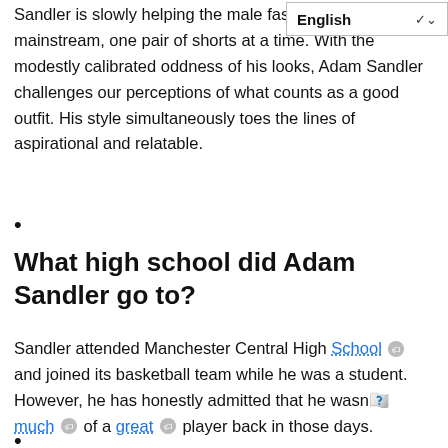Sandler is slowly helping the male fashion comfort more mainstream, one pair of shorts at a time. With the modestly calibrated oddness of his looks, Adam Sandler challenges our perceptions of what counts as a good outfit. His style simultaneously toes the lines of aspirational and relatable.
•
What high school did Adam Sandler go to?
Sandler attended Manchester Central High School 🏷 and joined its basketball team while he was a student. However, he has honestly admitted that he wasn't much 🏷 of a great 🏷 player back in those days.
•